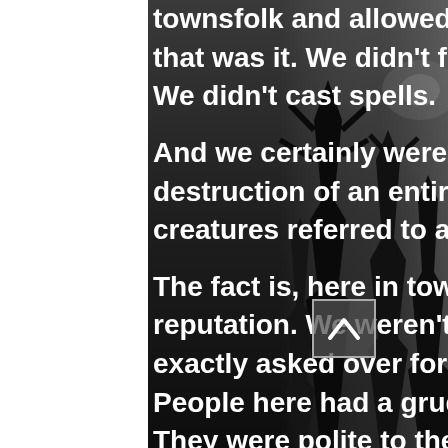[Figure (photo): Dark atmospheric background showing misty forest with tall dark coniferous trees on a dark grey/black background, occupying the right portion of the page.]
townsfolk and allowed them to sleep better, but that was it. We didn't fly around on broomsticks. We didn't cast spells.
And we certainly weren't responsible for the destruction of an entire breed of supernatural creatures referred to as werewolves.
The fact is, here in town my family had a certain reputation. We weren't shunned, but we weren't exactly asked over for Sunday dinners either. People here had a grudging respect for my aunts. They were polite to them, some were even friendly, but most stopped just short of crossing the street when they saw one of my aunts heading toward them on the same sidewalk.
They were a little suspicious when I told